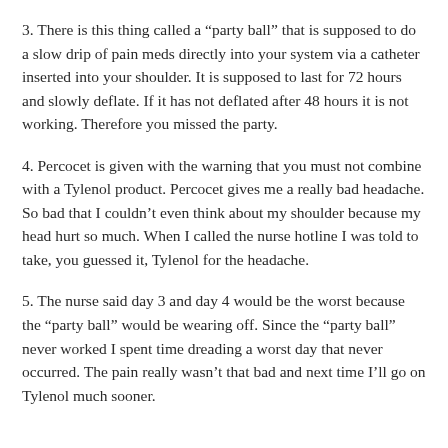3. There is this thing called a “party ball” that is supposed to do a slow drip of pain meds directly into your system via a catheter inserted into your shoulder. It is supposed to last for 72 hours and slowly deflate. If it has not deflated after 48 hours it is not working. Therefore you missed the party.
4. Percocet is given with the warning that you must not combine with a Tylenol product. Percocet gives me a really bad headache. So bad that I couldn’t even think about my shoulder because my head hurt so much. When I called the nurse hotline I was told to take, you guessed it, Tylenol for the headache.
5. The nurse said day 3 and day 4 would be the worst because the “party ball” would be wearing off. Since the “party ball” never worked I spent time dreading a worst day that never occurred. The pain really wasn’t that bad and next time I’ll go on Tylenol much sooner.